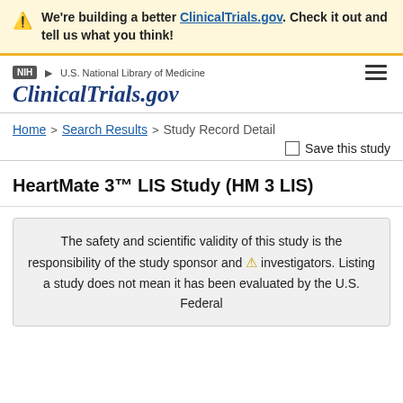We're building a better ClinicalTrials.gov. Check it out and tell us what you think!
[Figure (logo): NIH and ClinicalTrials.gov navigation header with hamburger menu]
Home > Search Results > Study Record Detail
Save this study
HeartMate 3™ LIS Study (HM 3 LIS)
The safety and scientific validity of this study is the responsibility of the study sponsor and investigators. Listing a study does not mean it has been evaluated by the U.S. Federal